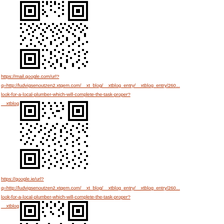[Figure (other): QR code image (first)]
https://mail.google.com/url?q=http://ludvigsenoutzen2.xtgem.com/__xt_blog/__xtblog_entry/__xtblog_entry/260...look-for-a-local-plumber-which-will-complete-the-task-proper?__xtblog_block_id=1
[Figure (other): QR code image (second)]
https://google.ie/url?q=http://ludvigsenoutzen2.xtgem.com/__xt_blog/__xtblog_entry/__xtblog_entry/260...look-for-a-local-plumber-which-will-complete-the-task-proper?__xtblog_block_id=1
[Figure (other): QR code image (third)]